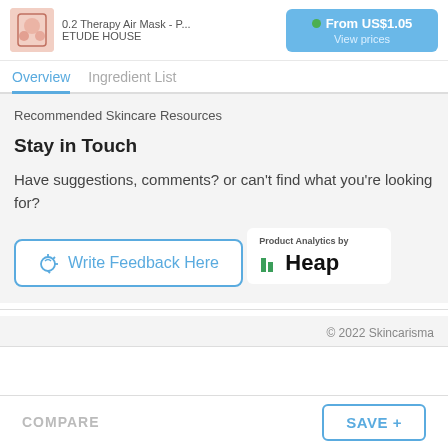0.2 Therapy Air Mask - P... ETUDE HOUSE | From US$1.05 View prices
Overview  Ingredient List
Recommended Skincare Resources
Stay in Touch
Have suggestions, comments? or can't find what you're looking for?
Write Feedback Here
[Figure (logo): Product Analytics by Heap logo with green bar chart icon]
© 2022 Skincarisma
COMPARE  SAVE +